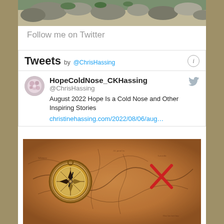[Figure (photo): Partial photo of rocky outdoor landscape at top of page, cropped]
Follow me on Twitter
[Figure (screenshot): Twitter widget showing Tweets by @ChrisHassing, with a tweet from HopeColdNose_CKHassing (@ChrisHassing): 'August 2022 Hope Is a Cold Nose and Other Inspiring Stories' with link christinehassing.com/2022/08/06/aug...]
[Figure (photo): Treasure map image with compass and red X mark]